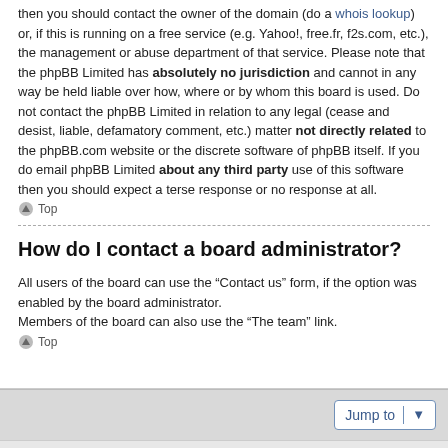then you should contact the owner of the domain (do a whois lookup) or, if this is running on a free service (e.g. Yahoo!, free.fr, f2s.com, etc.), the management or abuse department of that service. Please note that the phpBB Limited has absolutely no jurisdiction and cannot in any way be held liable over how, where or by whom this board is used. Do not contact the phpBB Limited in relation to any legal (cease and desist, liable, defamatory comment, etc.) matter not directly related to the phpBB.com website or the discrete software of phpBB itself. If you do email phpBB Limited about any third party use of this software then you should expect a terse response or no response at all.
Top
How do I contact a board administrator?
All users of the board can use the “Contact us” form, if the option was enabled by the board administrator.
Members of the board can also use the “The team” link.
Top
Jump to | Board index | Delete cookies | All times are UTC | Powered by phpBB® Forum Software © phpBB Limited | Style by Arty - Update phpBB 3.2 by MrGaby